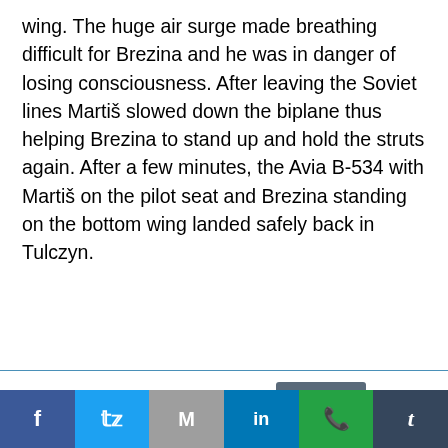wing. The huge air surge made breathing difficult for Brezina and he was in danger of losing consciousness. After leaving the Soviet lines Martiš slowed down the biplane thus helping Brezina to stand up and hold the struts again. After a few minutes, the Avia B-534 with Martiš on the pilot seat and Brezina standing on the bottom wing landed safely back in Tulczyn.
This website uses cookies.
[Figure (other): Social media sharing buttons: Facebook, Twitter, Gmail, LinkedIn, WhatsApp, Tumblr]